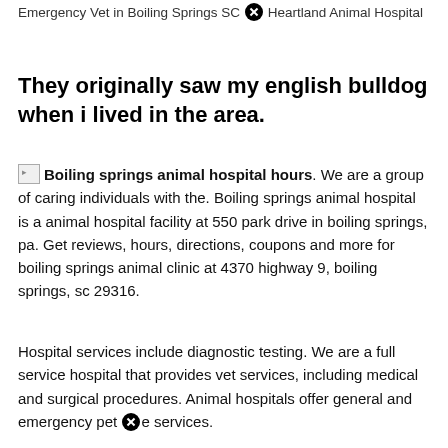Emergency Vet in Boiling Springs SC – Heartland Animal Hospital
They originally saw my english bulldog when i lived in the area.
Boiling springs animal hospital hours. We are a group of caring individuals with the. Boiling springs animal hospital is a animal hospital facility at 550 park drive in boiling springs, pa. Get reviews, hours, directions, coupons and more for boiling springs animal clinic at 4370 highway 9, boiling springs, sc 29316.
Hospital services include diagnostic testing. We are a full service hospital that provides vet services, including medical and surgical procedures. Animal hospitals offer general and emergency pet care services.